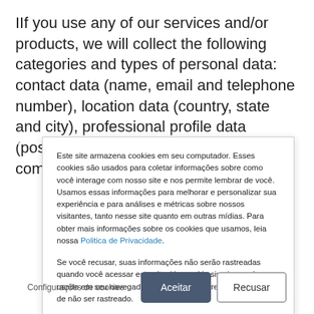IIf you use any of our services and/or products, we will collect the following categories and types of personal data: contact data (name, email and telephone number), location data (country, state and city), professional profile data (position, name and segment of the company you work for, number of
Este site armazena cookies em seu computador. Esses cookies são usados para coletar informações sobre como você interage com nosso site e nos permite lembrar de você. Usamos essas informações para melhorar e personalizar sua experiência e para análises e métricas sobre nossos visitantes, tanto nesse site quanto em outras mídias. Para obter mais informações sobre os cookies que usamos, leia nossa Politica de Privacidade.
Se você recusar, suas informações não serão rastreadas quando você acessar este site. Um cookie simples será usado em seu navegador para lembrar sobre sua preferência de não ser rastreado.
Configurações de cookies
Aceitar
Recusar